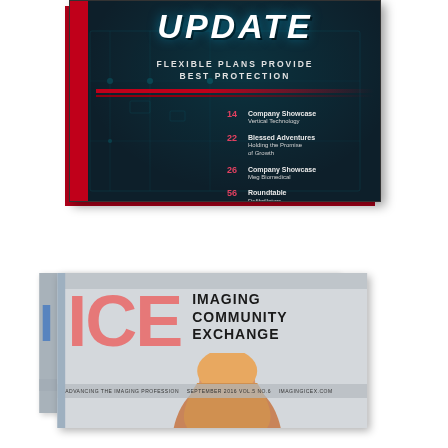[Figure (photo): Magazine cover with dark teal/navy background, large italic bold 'UPDATE' title text, subtitle 'FLEXIBLE PLANS PROVIDE BEST PROTECTION', red left accent strip, circuit board overlay, and table of contents listing pages 14 Company Showcase Vertical Technology, 22 Blessed Adventures Holding the Promise of Growth, 26 Company Showcase Meg Biomedical, 56 Roundtable Defibrillators]
[Figure (photo): ICE (Imaging Community Exchange) magazine cover with large red ICE letters, gray background, text 'IMAGING COMMUNITY EXCHANGE', bottom band with September 2016 Vol 5 No 6 and imagingicex.com, partial view of child's head in foreground]